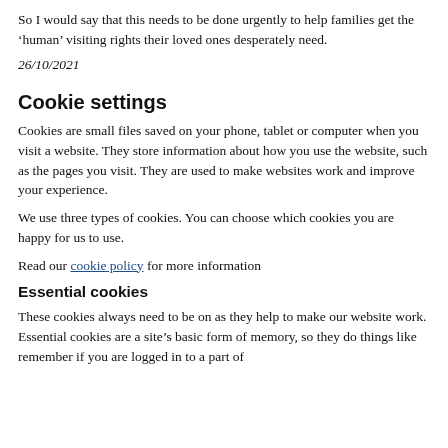So I would say that this needs to be done urgently to help families get the ‘human’ visiting rights their loved ones desperately need.
26/10/2021
Cookie settings
Cookies are small files saved on your phone, tablet or computer when you visit a website. They store information about how you use the website, such as the pages you visit. They are used to make websites work and improve your experience.
We use three types of cookies. You can choose which cookies you are happy for us to use.
Read our cookie policy for more information
Essential cookies
These cookies always need to be on as they help to make our website work. Essential cookies are a site’s basic form of memory, so they do things like remember if you are logged in to a part of